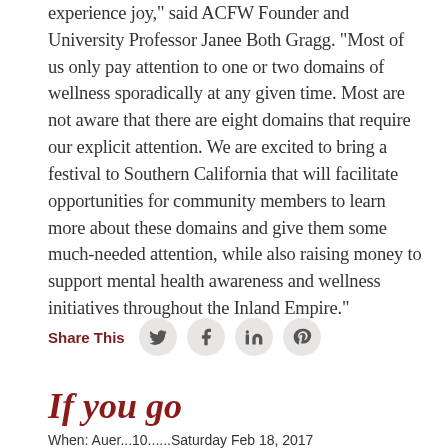experience joy," said ACFW Founder and University Professor Janee Both Gragg. "Most of us only pay attention to one or two domains of wellness sporadically at any given time. Most are not aware that there are eight domains that require our explicit attention. We are excited to bring a festival to Southern California that will facilitate opportunities for community members to learn more about these domains and give them some much-needed attention, while also raising money to support mental health awareness and wellness initiatives throughout the Inland Empire."
Share This
If you go
When: Auer...10......Saturday Feb 18, 2017